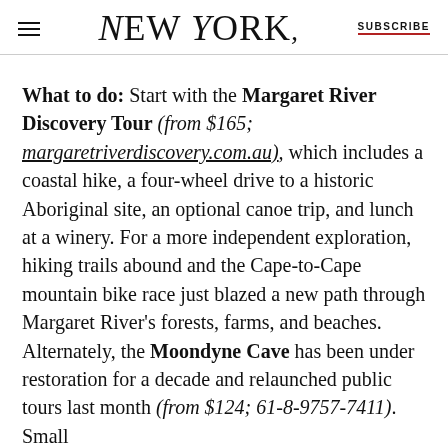NEW YORK | SUBSCRIBE
What to do: Start with the Margaret River Discovery Tour (from $165; margaretriverdiscovery.com.au), which includes a coastal hike, a four-wheel drive to a historic Aboriginal site, an optional canoe trip, and lunch at a winery. For a more independent exploration, hiking trails abound and the Cape-to-Cape mountain bike race just blazed a new path through Margaret River's forests, farms, and beaches. Alternately, the Moondyne Cave has been under restoration for a decade and relaunched public tours last month (from $124; 61-8-9757-7411). Small